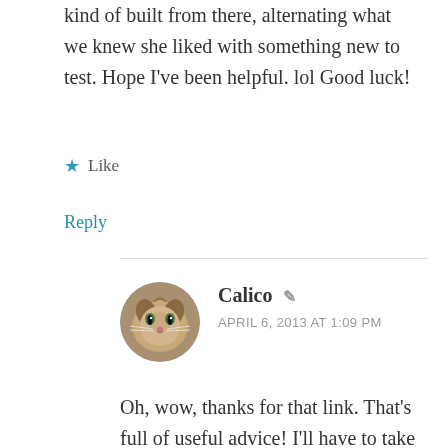kind of built from there, alternating what we knew she liked with something new to test. Hope I've been helpful. lol Good luck!
★ Like
Reply
Calico
APRIL 6, 2013 AT 1:09 PM
Oh, wow, thanks for that link. That's full of useful advice! I'll have to take another read-through and see what we can start doing. 🙂
★ Like